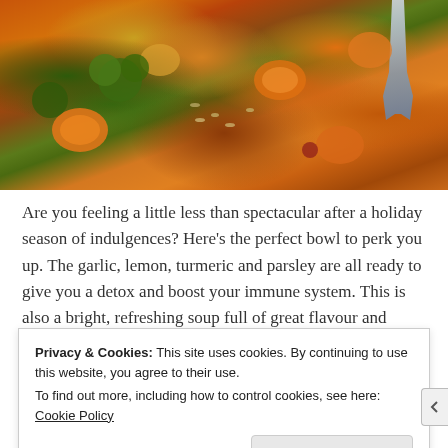[Figure (photo): Close-up photo of vegetable soup with carrots, broccoli, rice/grain, in a rich broth, with a metal spoon visible at the top right corner.]
Are you feeling a little less than spectacular after a holiday season of indulgences? Here's the perfect bowl to perk you up. The garlic, lemon, turmeric and parsley are all ready to give you a detox and boost your immune system. This is also a bright, refreshing soup full of great flavour and textures, and you can whip it up in just 30 minutes. Mmmmm.
Ingredients
Privacy & Cookies: This site uses cookies. By continuing to use this website, you agree to their use.
To find out more, including how to control cookies, see here: Cookie Policy
Close and accept